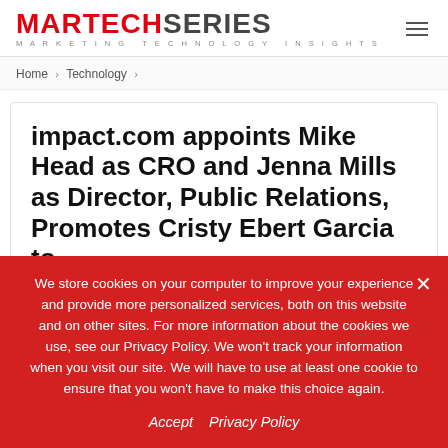MARTECHSERIES MARKETING TECHNOLOGY INSIGHTS
Home > Technology >
impact.com appoints Mike Head as CRO and Jenna Mills as Director, Public Relations, Promotes Cristy Ebert Garcia to
We store cookies on your computer to improve your experience and provide more personalized services, both on this website and on other sites. For more information about the cookies we use, see our Privacy Policy. We won't track your information when you visit our site. We will have to use at least one cookie to ensure that you won't have to make this choice again.
Accept  Privacy Policy